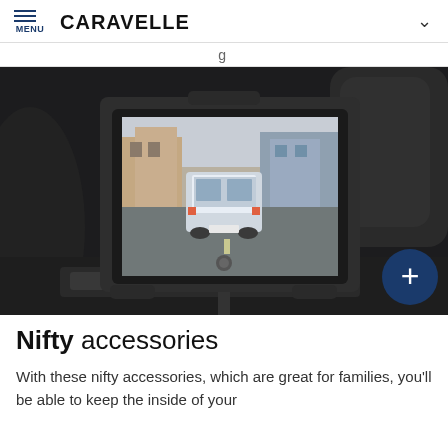MENU | CARAVELLE
g
[Figure (photo): A tablet mounted on a car headrest mount, displaying an image of a Volkswagen Caravelle driving on a city street. The interior shows black leather seats and car dashboard elements visible in the background.]
Nifty accessories
With these nifty accessories, which are great for families, you'll be able to keep the inside of your